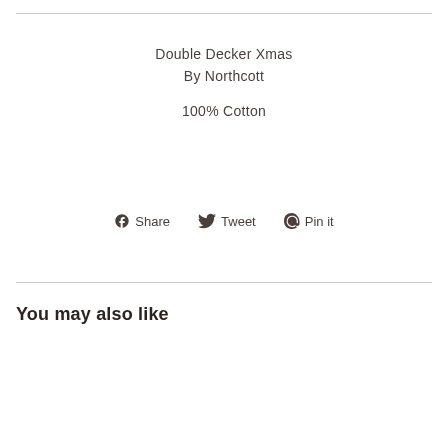Double Decker Xmas
By Northcott
100% Cotton
Share  Tweet  Pin it
You may also like